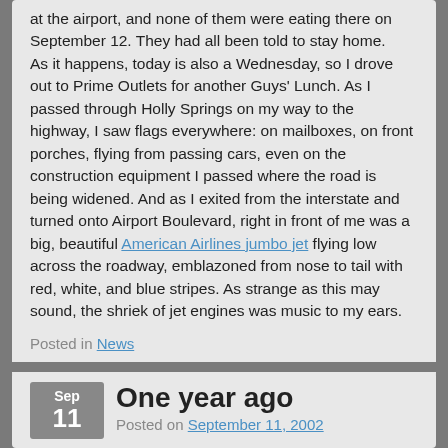at the airport, and none of them were eating there on September 12. They had all been told to stay home.
As it happens, today is also a Wednesday, so I drove out to Prime Outlets for another Guys' Lunch. As I passed through Holly Springs on my way to the highway, I saw flags everywhere: on mailboxes, on front porches, flying from passing cars, even on the construction equipment I passed where the road is being widened. And as I exited from the interstate and turned onto Airport Boulevard, right in front of me was a big, beautiful American Airlines jumbo jet flying low across the roadway, emblazoned from nose to tail with red, white, and blue stripes. As strange as this may sound, the shriek of jet engines was music to my ears.
Posted in News
One year ago
Posted on September 11, 2002
As airplanes began slamming into buildings on the morning of 11 September 2001, I was blissfully unaware of what was happening. I was driving to work, and because I was listening to a music CD (I